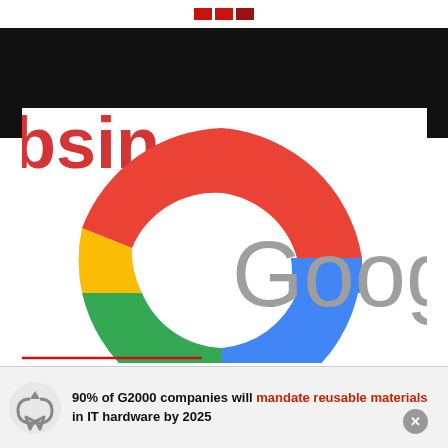[Figure (logo): Google logo partially cropped showing large colorful G and 'Googl' text in gray, on white background, with black band above and partial 'bsin' text visible in upper left]
90% of G2000 companies will mandate reusable materials in IT hardware by 2025